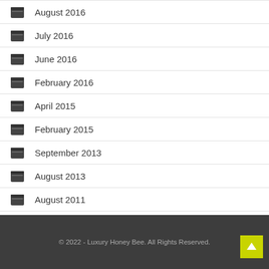August 2016
July 2016
June 2016
February 2016
April 2015
February 2015
September 2013
August 2013
August 2011
September 2010
© 2022 - Luxury Honey Bee. All Rights Reserved.